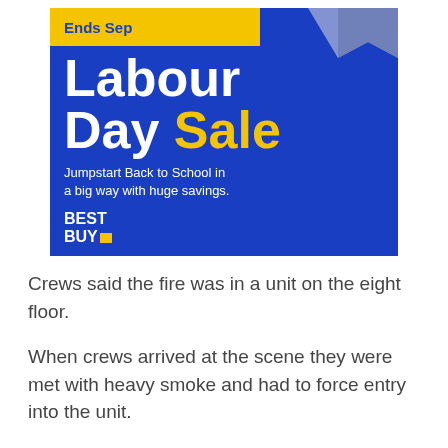[Figure (illustration): Best Buy Labour Day Sale advertisement banner with blue background, yellow top strip reading 'Ends Sep', large white text 'Labour Day' with yellow 'Sale', tagline 'Jumpstart Back to School in a big way with huge savings.' and Best Buy logo at bottom left.]
Crews said the fire was in a unit on the eight floor.
When crews arrived at the scene they were met with heavy smoke and had to force entry into the unit.